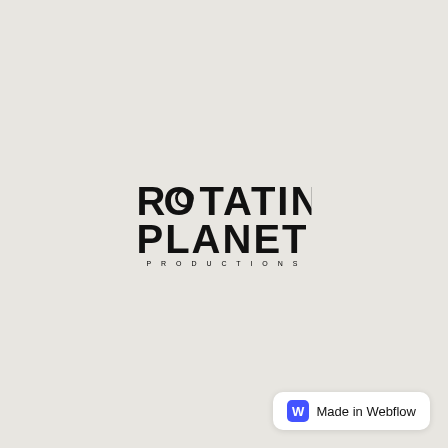[Figure (logo): Rotating Planet Productions logo: bold black uppercase text reading ROTATING PLANET on two lines, with a circular ring replacing the O in ROTATING, and PRODUCTIONS in small spaced caps below]
Made in Webflow